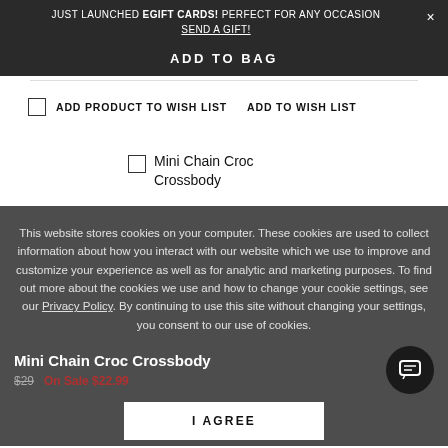JUST LAUNCHED EGIFT CARDS! PERFECT FOR ANY OCCASION × SEND A GIFT!
ADD TO BAG
ADD PRODUCT TO WISH LIST   ADD TO WISH LIST
Mini Chain Croc Crossbody
This website stores cookies on your computer. These cookies are used to collect information about how you interact with our website which we use to improve and customize your experience as well as for analytic and marketing purposes. To find out more about the cookies we use and how to change your cookie settings, see our Privacy Policy. By continuing to use this site without changing your settings, you consent to our use of cookies.
Mini Chain Croc Crossbody
$29  On Sale $22.99
I AGREE